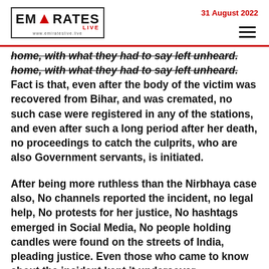EMIRATES LIVE — 31 August 2022
home, with what they had to say left unheard. Fact is that, even after the body of the victim was recovered from Bihar, and was cremated, no such case were registered in any of the stations, and even after such a long period after her death, no proceedings to catch the culprits, who are also Government servants, is initiated.
After being more ruthless than the Nirbhaya case also, No channels reported the incident, no legal help, No protests for her justice, No hashtags emerged in Social Media, No people holding candles were found on the streets of India, pleading justice. Even those who came to know about the incident kept it undercover.